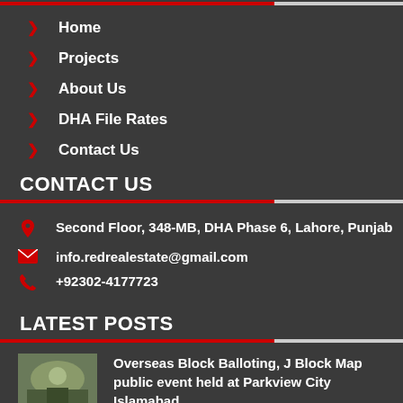Home
Projects
About Us
DHA File Rates
Contact Us
CONTACT US
Second Floor, 348-MB, DHA Phase 6, Lahore, Punjab
info.redrealestate@gmail.com
+92302-4177723
LATEST POSTS
Overseas Block Balloting, J Block Map public event held at Parkview City Islamabad